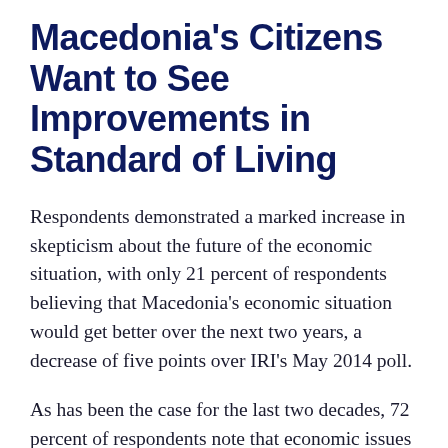Macedonia's Citizens Want to See Improvements in Standard of Living
Respondents demonstrated a marked increase in skepticism about the future of the economic situation, with only 21 percent of respondents believing that Macedonia's economic situation would get better over the next two years, a decrease of five points over IRI's May 2014 poll.
As has been the case for the last two decades, 72 percent of respondents note that economic issues remain the most pressing problems in the day-to-day lives of Macedonia's citizens.  This